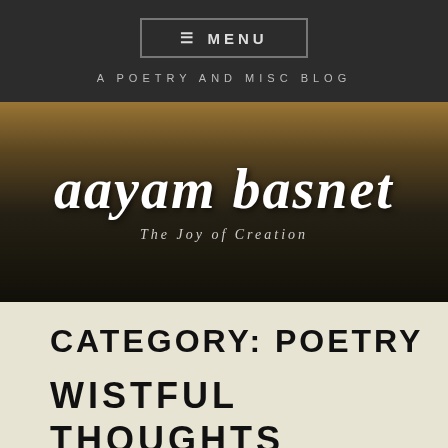≡ MENU
A POETRY AND MISC BLOG
aayam basnet
The Joy of Creation
CATEGORY: POETRY
WISTFUL THOUGHTS